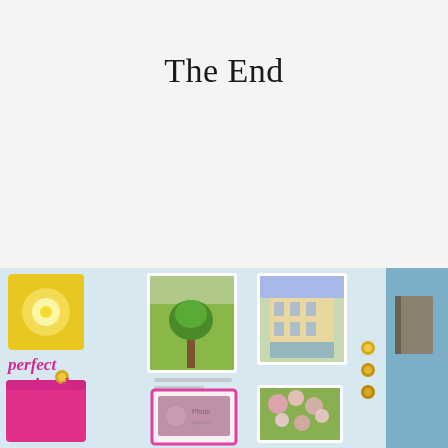The End
[Figure (photo): A collage-style mood board featuring photos of a tree, a hotel building, floral images, an Instagram card, pink and yellow stationery/folders, gold pins, and a blue background panel. Text visible: 'perfect weekend' in pink italic.]